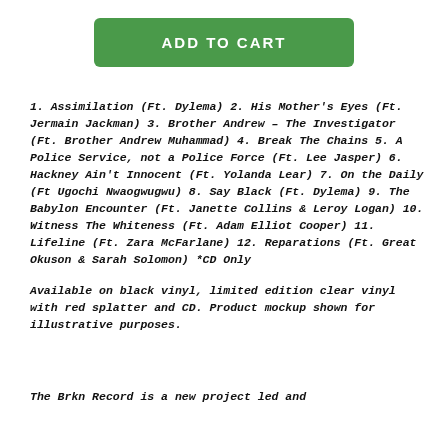ADD TO CART
1. Assimilation (Ft. Dylema) 2. His Mother's Eyes (Ft. Jermain Jackman) 3. Brother Andrew – The Investigator (Ft. Brother Andrew Muhammad) 4. Break The Chains 5. A Police Service, not a Police Force (Ft. Lee Jasper) 6. Hackney Ain't Innocent (Ft. Yolanda Lear) 7. On the Daily (Ft Ugochi Nwaogwugwu) 8. Say Black (Ft. Dylema) 9. The Babylon Encounter (Ft. Janette Collins & Leroy Logan) 10. Witness The Whiteness (Ft. Adam Elliot Cooper) 11. Lifeline (Ft. Zara McFarlane) 12. Reparations (Ft. Great Okuson & Sarah Solomon) *CD Only
Available on black vinyl, limited edition clear vinyl with red splatter and CD. Product mockup shown for illustrative purposes.
The Brkn Record is a new project led and